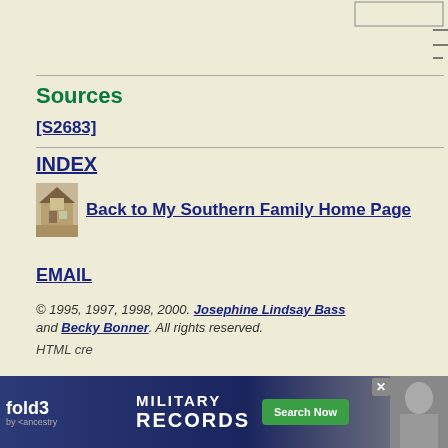[Figure (other): Top-right corner box with border and decorative lines below it]
Sources
[S2683]
INDEX
[Figure (photo): Small thumbnail image of a Southern house/plantation]
Back to My Southern Family Home Page
EMAIL
© 1995, 1997, 1998, 2000. Josephine Lindsay Bass and Becky Bonner. All rights reserved.
HTML cre...
[Figure (infographic): fold3 Military Records advertisement banner with Search Now button and soldier photo]